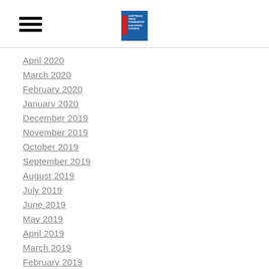[Navigation header with hamburger menu and organization logo]
April 2020
March 2020
February 2020
January 2020
December 2019
November 2019
October 2019
September 2019
August 2019
July 2019
June 2019
May 2019
April 2019
March 2019
February 2019
January 2019
December 2018
November 2018
October 2018